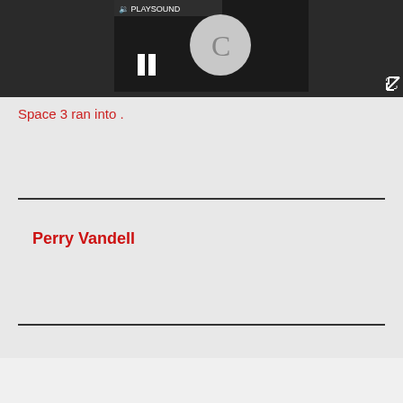[Figure (screenshot): Video player UI with dark background, play/pause button (pause bars), a circular loading/C icon, PLAYSOUND label, and expand icon in top-right corner]
Space 3 ran into .
Perry Vandell